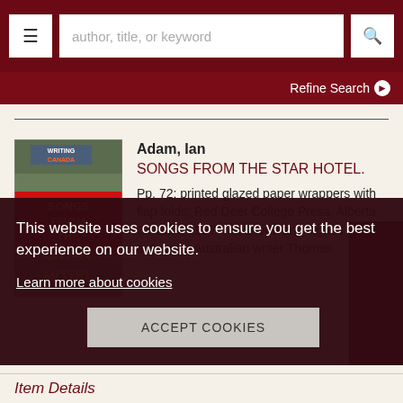author, title, or keyword | Refine Search
[Figure (screenshot): Book cover for Songs From The Star Hotel by Ian Adam, showing title text on colored bands against a grey background]
Adam, Ian
SONGS FROM THE STAR HOTEL.
Pp. 72; printed glazed paper wrappers with flap folds; Red Deer College Press, Alberta, Canada, 1987. *Inscribed and signed by the author (to Australian writer Thomas
This website uses cookies to ensure you get the best experience on our website.
Learn more about cookies
ACCEPT COOKIES
Item Details